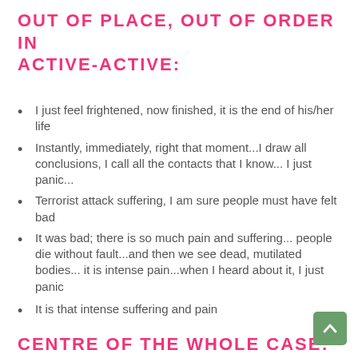OUT OF PLACE, OUT OF ORDER IN ACTIVE-ACTIVE:
I just feel frightened, now finished, it is the end of his/her life
Instantly, immediately, right that moment...I draw all conclusions, I call all the contacts that I know... I just panic...
Terrorist attack suffering, I am sure people must have felt bad
It was bad; there is so much pain and suffering... people die without fault...and then we see dead, mutilated bodies... it is intense pain...when I heard about it, I just panic
It is that intense suffering and pain
CENTRE OF THE WHOLE CASE: